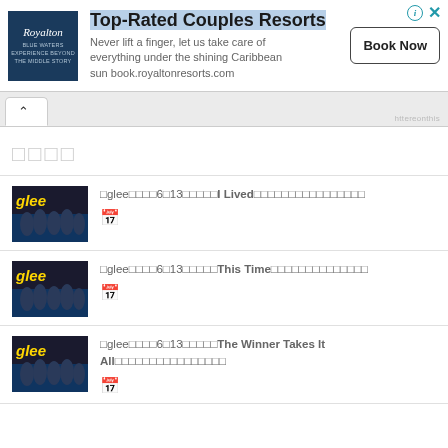[Figure (other): Advertisement banner for Royalton Resorts - Top-Rated Couples Resorts with Book Now button]
Top-Rated Couples Resorts
Never lift a finger, let us take care of everything under the shining Caribbean sun book.royaltonresorts.com
□□□□
□glee□□□□6□13□□□□□I Lived□□□□□□□□□□□□□□□□
□glee□□□□6□13□□□□□This Time□□□□□□□□□□□□□□
□glee□□□□6□13□□□□□The Winner Takes It All□□□□□□□□□□□□□□□□